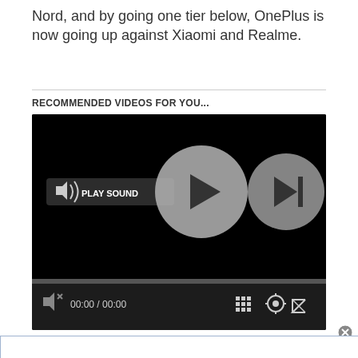Nord, and by going one tier below, OnePlus is now going up against Xiaomi and Realme.
RECOMMENDED VIDEOS FOR YOU...
[Figure (screenshot): Video player with black background showing a play button (large circle) and a skip/next button (smaller circle), a 'PLAY SOUND' badge on the left, progress bar, time display '00:00 / 00:00', and controls including grid, settings, and fullscreen icons.]
[Figure (screenshot): Partial ad banner at the bottom with a close (X) button in the top-right corner.]